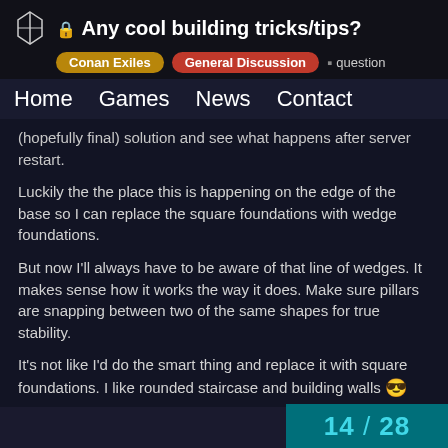🔒 Any cool building tricks/tips? | Conan Exiles | General Discussion | question
Home   Games   News   Contact
(hopefully final) solution and see what happens after server restart.
Luckily the the place this is happening on the edge of the base so I can replace the square foundations with wedge foundations.
But now I'll always have to be aware of that line of wedges. It makes sense how it works the way it does. Make sure pillars are snapping between two of the same shapes for true stability.
It's not like I'd do the smart thing and replace it with square foundations. I like rounded staircase and building walls 😎
This forum is a fantastic place!
Quick and helpful answers from a great group of smart and helpful players!
14 / 28